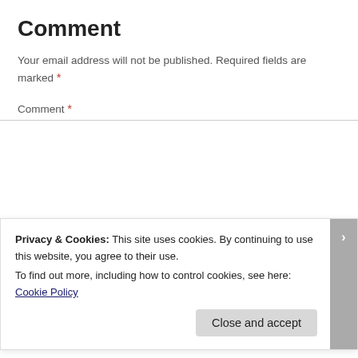Comment
Your email address will not be published. Required fields are marked *
Comment *
[Figure (screenshot): Empty comment text area input box with border]
Privacy & Cookies: This site uses cookies. By continuing to use this website, you agree to their use.
To find out more, including how to control cookies, see here: Cookie Policy
Close and accept